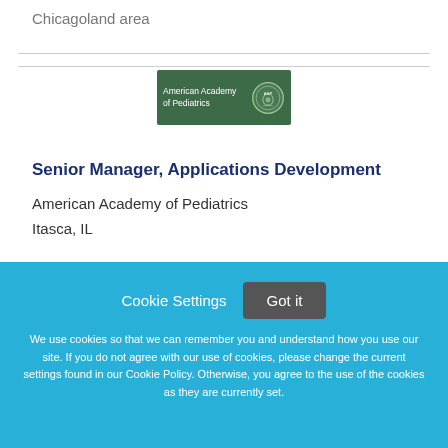Chicagoland area
[Figure (logo): American Academy of Pediatrics logo on dark green background with seal]
Senior Manager, Applications Development
American Academy of Pediatrics
Itasca, IL
Cookie Settings
Got it
We use cookies so that we can remember you and understand how you use our site. If you do not agree with our use of cookies, please change the current settings found in our Cookie Policy. Otherwise, you agree to the use of the cookies as they are currently set.